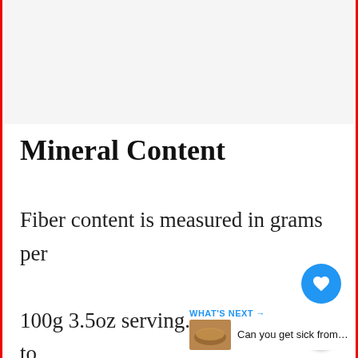[Figure (other): Gray placeholder image area at the top of the page]
Mineral Content
Fiber content is measured in grams per 100g 3.5oz serving. It is important to know how many calories are co… …taining a good amount of fiber. For example,